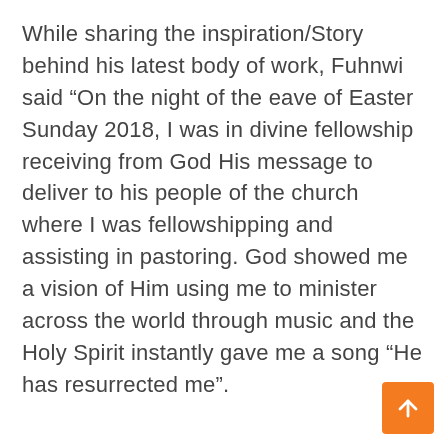While sharing the inspiration/Story behind his latest body of work, Fuhnwi said “On the night of the eave of Easter Sunday 2018, I was in divine fellowship receiving from God His message to deliver to his people of the church where I was fellowshipping and assisting in pastoring. God showed me a vision of Him using me to minister across the world through music and the Holy Spirit instantly gave me a song “He has resurrected me”.
[Figure (other): Orange square button with a white upward arrow icon in the bottom-right corner of the page]